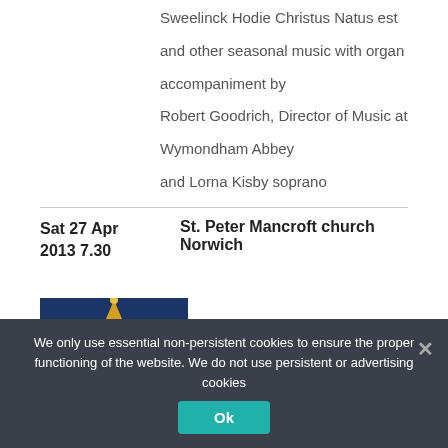Sweelinck Hodie Christus Natus est and other seasonal music with organ accompaniment by Robert Goodrich, Director of Music at Wymondham Abbey and Lorna Kisby soprano
Sat 27 Apr 2013 7.30
St. Peter Mancroft church Norwich
[Figure (photo): Photo of a church with golden spires against a dark blue night sky]
We only use essential non-persistent cookies to ensure the proper functioning of the website. We do not use persistent or advertising cookies